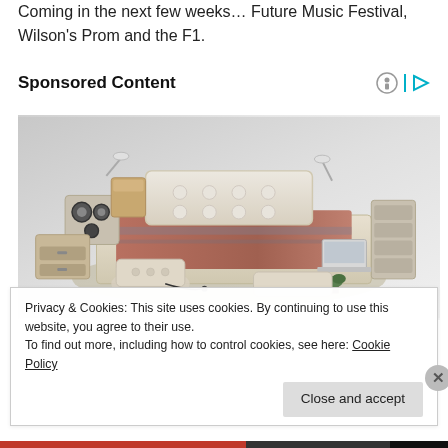Coming in the next few weeks… Future Music Festival, Wilson's Prom and the F1.
Sponsored Content
[Figure (photo): A luxury multi-functional smart bed with built-in speakers, reading lamps, storage drawers, a massage chair, laptop stand, and various accessories.]
Privacy & Cookies: This site uses cookies. By continuing to use this website, you agree to their use.
To find out more, including how to control cookies, see here: Cookie Policy
Close and accept